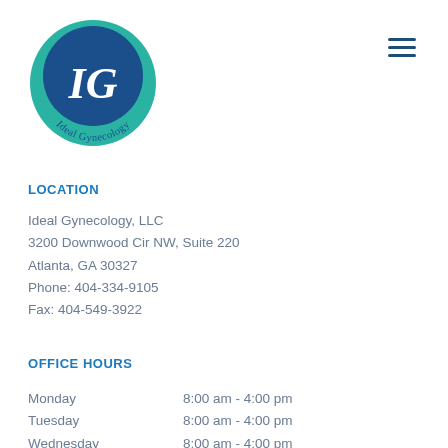[Figure (logo): Ideal Gynecology logo: circular teal and blue badge with white italic 'IG' letters and curved text 'Ideal Gynecology' along the bottom]
LOCATION
Ideal Gynecology, LLC
3200 Downwood Cir NW, Suite 220
Atlanta, GA 30327
Phone: 404-334-9105
Fax: 404-549-3922
OFFICE HOURS
Monday      8:00 am - 4:00 pm
Tuesday     8:00 am - 4:00 pm
Wednesday   8:00 am - 4:00 pm